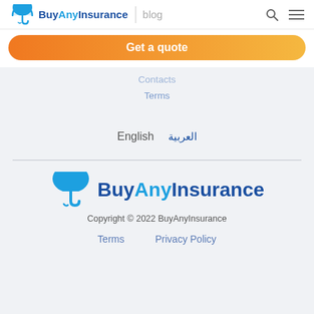BuyAnyInsurance | blog
Get a quote
Contacts
Terms
English   العربية
[Figure (logo): BuyAnyInsurance logo with umbrella icon]
Copyright © 2022 BuyAnyInsurance
Terms   Privacy Policy